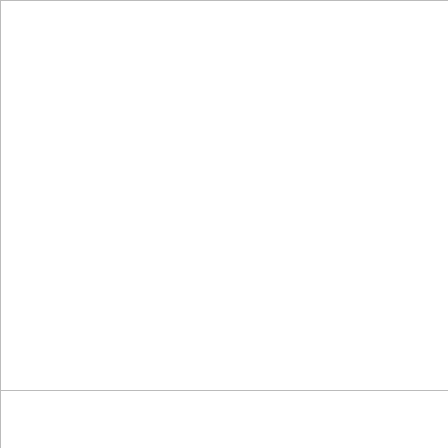|  |  |  | codes |
| --- | --- | --- | --- |
|  |  |  | 0 THE
042
042.ER
047 04
051 05
058 05
060 |
|  | 6.3 | 28 | 007 01
018 02
028 02
032 03
036 03
038 03
040 04
043 04
047
047.ER
048 04
050 05 |